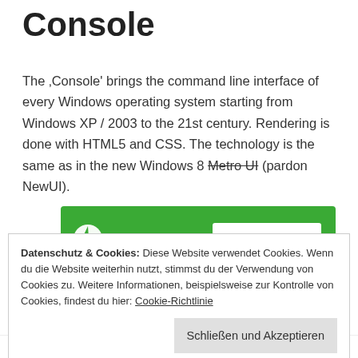Console
The 'Console' brings the command line interface of every Windows operating system starting from Windows XP / 2003 to the 21st century. Rendering is done with HTML5 and CSS. The technology is the same as in the new Windows 8 Metro UI (pardon NewUI).
[Figure (infographic): Jetpack advertisement banner with green background showing Jetpack logo and 'Secure Your Site' button]
DIESE ANZEIGE MELDEN
Datenschutz & Cookies: Diese Website verwendet Cookies. Wenn du die Website weiterhin nutzt, stimmst du der Verwendung von Cookies zu. Weitere Informationen, beispielsweise zur Kontrolle von Cookies, findest du hier: Cookie-Richtlinie
Schließen und Akzeptieren
files. You can modify the environment variables (process,